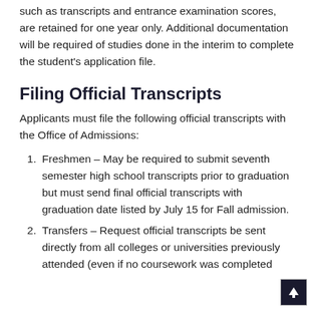such as transcripts and entrance examination scores, are retained for one year only. Additional documentation will be required of studies done in the interim to complete the student's application file.
Filing Official Transcripts
Applicants must file the following official transcripts with the Office of Admissions:
Freshmen – May be required to submit seventh semester high school transcripts prior to graduation but must send final official transcripts with graduation date listed by July 15 for Fall admission.
Transfers – Request official transcripts be sent directly from all colleges or universities previously attended (even if no coursework was completed